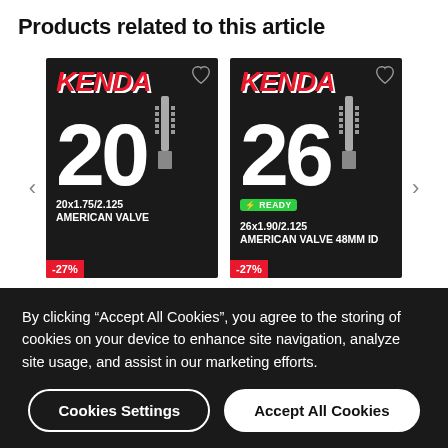Products related to this article
[Figure (photo): Kenda 20x1.75/2.125 American Valve inner tube product box with -27% discount badge]
[Figure (photo): Kenda 26x1.90/2.125 American Valve 48mm ID inner tube product box with -27% discount badge and E-Ready logo]
By clicking “Accept All Cookies”, you agree to the storing of cookies on your device to enhance site navigation, analyze site usage, and assist in our marketing efforts.
Cookies Settings
Accept All Cookies